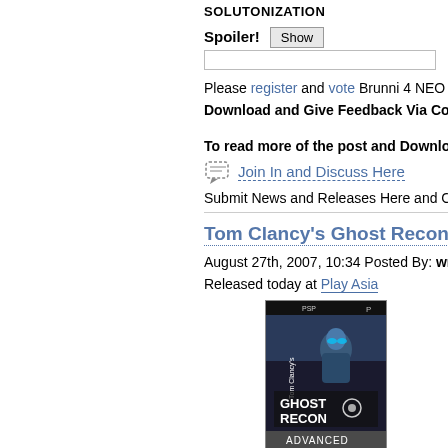SOLUTONIZATION
Spoiler! [Show]
Please register and vote Brunni 4 NEO Summ...
Download and Give Feedback Via Commer...
To read more of the post and Download, cli...
Join In and Discuss Here
Submit News and Releases Here and Contac...
Tom Clancy's Ghost Recon...
August 27th, 2007, 10:34 Posted By: wraggst...
Released today at Play Asia
[Figure (photo): Tom Clancy's Ghost Recon Advanced PSP game cover art showing a soldier in futuristic gear]